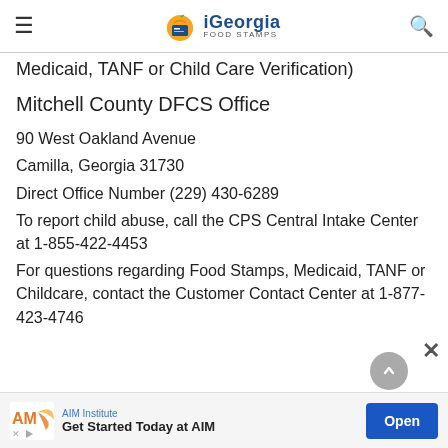iGeorgia FOOD STAMPS
Medicaid, TANF or Child Care Verification)
Mitchell County DFCS Office
90 West Oakland Avenue
Camilla, Georgia 31730
Direct Office Number (229) 430-6289
To report child abuse, call the CPS Central Intake Center at 1-855-422-4453
For questions regarding Food Stamps, Medicaid, TANF or Childcare, contact the Customer Contact Center at 1-877-423-4746